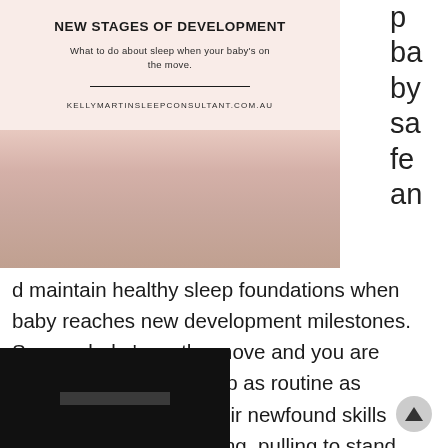[Figure (infographic): Blog post card with pink background, title 'NEW STAGES OF DEVELOPMENT', subtitle 'What to do about sleep when your baby's on the move.', divider line, and URL 'KELLYMARTINSLEEPCONSULTANT.COM.AU'. Below is a baby photo area.]
p ba by sa fe an
d maintain healthy sleep foundations when baby reaches new development milestones. So your baby's on the move and you are eager to keep their sleep as routine as regular as possible. Their newfound skills may include rolling, sitting, pulling to stand. All of these are wonderful and [...]